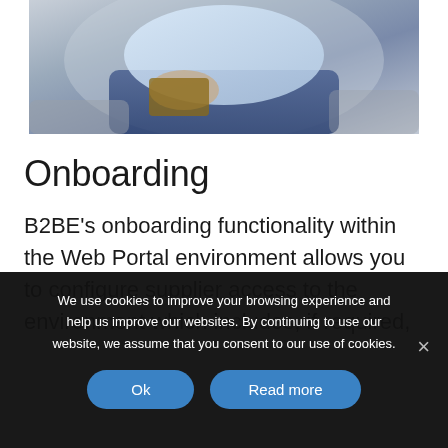[Figure (photo): A person in a light blue shirt sitting and holding a notebook, with another person partially visible, in what appears to be a business consultation setting.]
Onboarding
B2BE's onboarding functionality within the Web Portal environment allows you to configure supplier access to the environment which includes, if required,
We use cookies to improve your browsing experience and help us improve our websites. By continuing to use our website, we assume that you consent to our use of cookies.